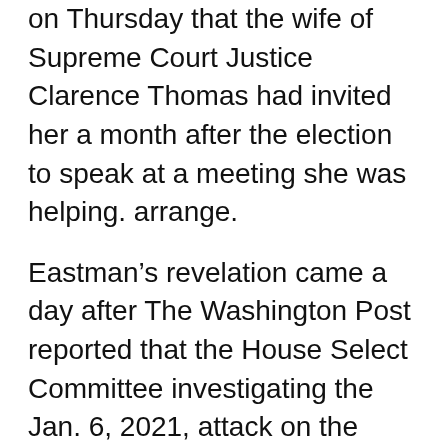on Thursday that the wife of Supreme Court Justice Clarence Thomas had invited her a month after the election to speak at a meeting she was helping. arrange.
Eastman's revelation came a day after The Washington Post reported that the House Select Committee investigating the Jan. 6, 2021, attack on the Capitol had obtained an email correspondence between him and Virginia “Ginni.” Thomas, a conservative activist and strong supporter of former President Donald. Asset. Those involved in the investigation said the emails – which have not been made public – showed Thomas’s efforts to help overturn the election were more extensive than previously known, reported The Post.